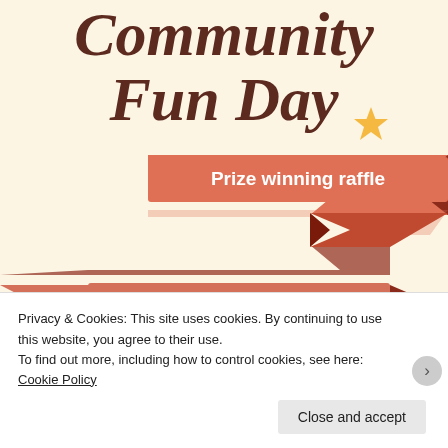Community Fun Day
[Figure (illustration): Decorative zigzag ribbon banner with an orange star, in salmon/dark red colors, running diagonally across the page with three banner label overlays]
Prize winning raffle
Vintage police vehicles and Police museum
Face painting
Privacy & Cookies: This site uses cookies. By continuing to use this website, you agree to their use.
To find out more, including how to control cookies, see here: Cookie Policy
Close and accept